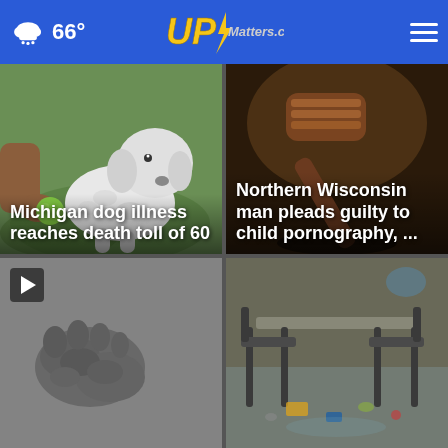66° UPMatters.com
[Figure (photo): A fluffy white dog playing with a green ball being held by a person's hand outdoors on grass]
Michigan dog illness reaches death toll of 60
[Figure (photo): A wooden judge's gavel close up in a courtroom setting]
Northern Wisconsin man pleads guilty to child pornography, ...
[Figure (photo): A fossilized footprint or impression in gray clay or rock, with a video play button overlay]
[Figure (photo): An outdoor patio scene with overturned chairs, scattered debris and litter on a wet concrete surface]